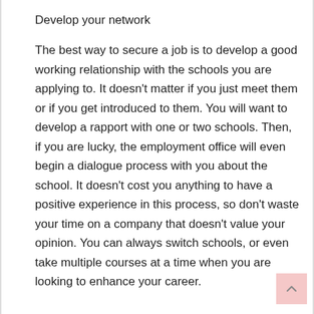Develop your network
The best way to secure a job is to develop a good working relationship with the schools you are applying to. It doesn't matter if you just meet them or if you get introduced to them. You will want to develop a rapport with one or two schools. Then, if you are lucky, the employment office will even begin a dialogue process with you about the school. It doesn't cost you anything to have a positive experience in this process, so don't waste your time on a company that doesn't value your opinion. You can always switch schools, or even take multiple courses at a time when you are looking to enhance your career.